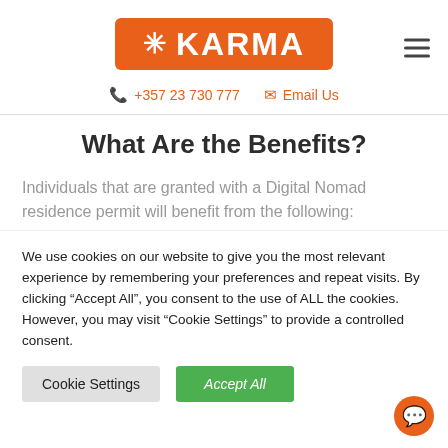[Figure (logo): Karma logo: orange rounded rectangle with white snowflake asterisk and KARMA text in white]
+357 23 730 777   Email Us
What Are the Benefits?
Individuals that are granted with a Digital Nomad residence permit will benefit from the following:
We use cookies on our website to give you the most relevant experience by remembering your preferences and repeat visits. By clicking “Accept All”, you consent to the use of ALL the cookies. However, you may visit “Cookie Settings” to provide a controlled consent.